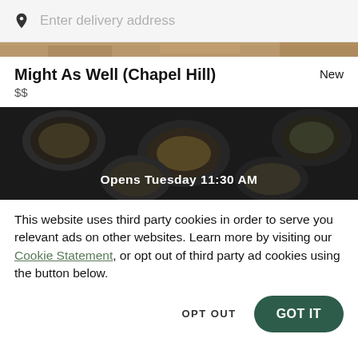Enter delivery address
[Figure (photo): Top portion of food image showing restaurant dishes, partially cropped]
Might As Well (Chapel Hill)
New
$$
[Figure (photo): Dark overhead photo of bowls and dishes with text overlay 'Opens Tuesday 11:30 AM']
This website uses third party cookies in order to serve you relevant ads on other websites. Learn more by visiting our Cookie Statement, or opt out of third party ad cookies using the button below.
OPT OUT
GOT IT